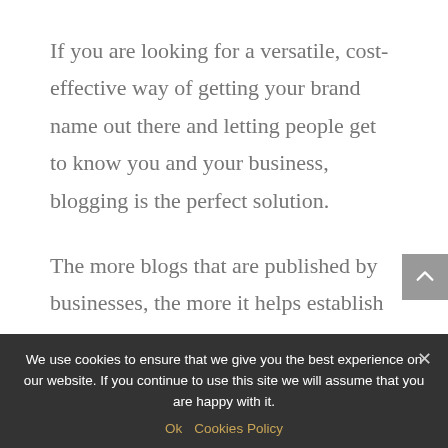If you are looking for a versatile, cost-effective way of getting your brand name out there and letting people get to know you and your business, blogging is the perfect solution.
The more blogs that are published by businesses, the more it helps establish trustworthiness as it shows readers how enthusiastic about their business they really are. Helpful and inciteful business blogs will help establish you as an authority in your industry.
Blog writers that include helpful
We use cookies to ensure that we give you the best experience on our website. If you continue to use this site we will assume that you are happy with it.
Ok  Cookies Policy